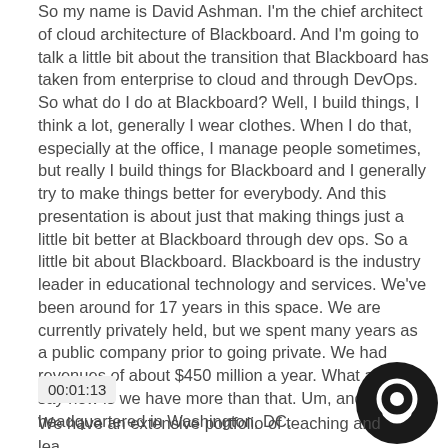So my name is David Ashman. I'm the chief architect of cloud architecture of Blackboard. And I'm going to talk a little bit about the transition that Blackboard has taken from enterprise to cloud and through DevOps. So what do I do at Blackboard? Well, I build things, I think a lot, generally I wear clothes. When I do that, especially at the office, I manage people sometimes, but really I build things for Blackboard and I generally try to make things better for everybody. And this presentation is about just that making things just a little bit better at Blackboard through dev ops. So a little bit about Blackboard. Blackboard is the industry leader in educational technology and services. We've been around for 17 years in this space. We are currently privately held, but we spent many years as a public company prior to going private. We had revenues of about $450 million a year. What all I can say now is we have more than that. Um, and we are headquartered in Washington, DC.
00:01:13
We have an extensive portfolio of teaching and learning, communications, analytics, security, and transactional